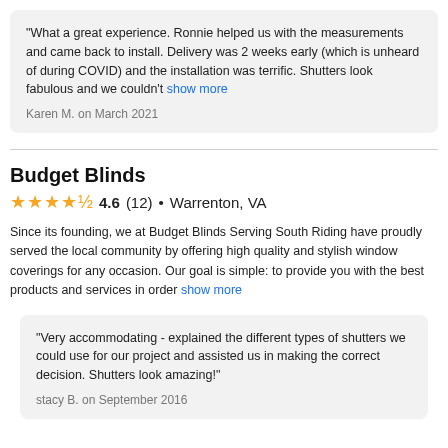"What a great experience. Ronnie helped us with the measurements and came back to install. Delivery was 2 weeks early (which is unheard of during COVID) and the installation was terrific. Shutters look fabulous and we couldn't show more
Karen M. on March 2021
Budget Blinds
4.6 (12) • Warrenton, VA
Since its founding, we at Budget Blinds Serving South Riding have proudly served the local community by offering high quality and stylish window coverings for any occasion. Our goal is simple: to provide you with the best products and services in order show more
"Very accommodating - explained the different types of shutters we could use for our project and assisted us in making the correct decision. Shutters look amazing!"
stacy B. on September 2016